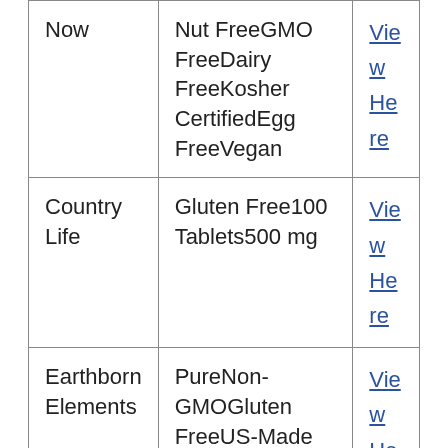| Now | Nut FreeGMO FreeDairy FreeKosher CertifiedEgg FreeVegan | View Here |
| Country Life | Gluten Free100 Tablets500 mg | View Here |
| Earthborn Elements | PureNon-GMOGluten FreeUS-Made | View Here |